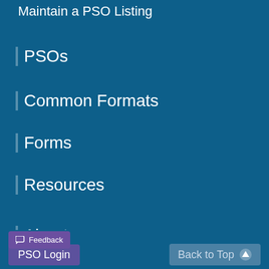Maintain a PSO Listing
PSOs
Common Formats
Forms
Resources
About
FAQs
Contact PSO
Feedback   PSO Login   Back to Top